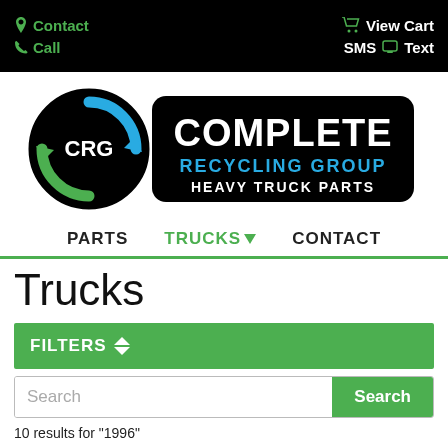Contact | Call | View Cart | SMS Text
[Figure (logo): Complete Recycling Group Heavy Truck Parts logo — CRG circular recycling arrows icon in black circle with blue and green arrows, beside black rounded rectangle with COMPLETE in white bold, RECYCLING GROUP in blue, HEAVY TRUCK PARTS in white smaller text]
PARTS   TRUCKS   CONTACT
Trucks
FILTERS
Search
10 results for "1996"